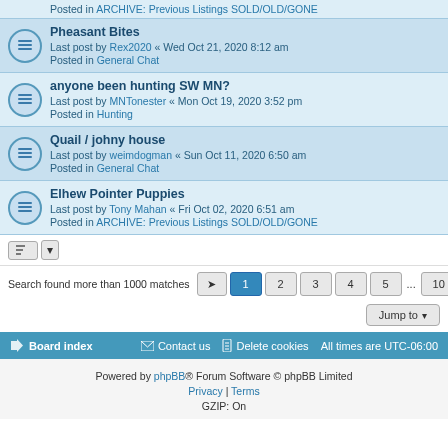Posted in ARCHIVE: Previous Listings SOLD/OLD/GONE
Pheasant Bites
Last post by Rex2020 « Wed Oct 21, 2020 8:12 am
Posted in General Chat
anyone been hunting SW MN?
Last post by MNTonester « Mon Oct 19, 2020 3:52 pm
Posted in Hunting
Quail / johny house
Last post by weimdogman « Sun Oct 11, 2020 6:50 am
Posted in General Chat
Elhew Pointer Puppies
Last post by Tony Mahan « Fri Oct 02, 2020 6:51 am
Posted in ARCHIVE: Previous Listings SOLD/OLD/GONE
Search found more than 1000 matches  1 2 3 4 5 ... 10
Board index  Contact us  Delete cookies  All times are UTC-06:00
Powered by phpBB® Forum Software © phpBB Limited
Privacy | Terms
GZIP: On